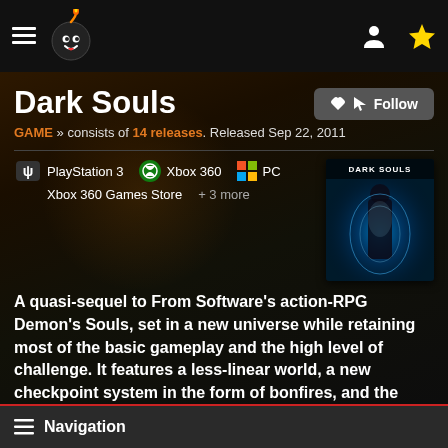GameSpot navigation bar with hamburger menu, logo, user icon, and star icon
Dark Souls
GAME » consists of 14 releases. Released Sep 22, 2011
PlayStation 3   Xbox 360   PC
Xbox 360 Games Store   + 3 more
[Figure (illustration): Dark Souls game cover art showing a knight figure surrounded by blue energy/spirits on a dark background with 'DARK SOULS' text at top]
A quasi-sequel to From Software's action-RPG Demon's Souls, set in a new universe while retaining most of the basic gameplay and the high level of challenge. It features a less-linear world, a new checkpoint system in the form of bonfires, and the unique Humanity system.
Navigation